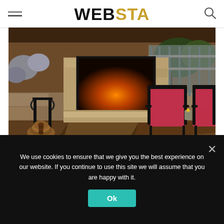WEBSTA
[Figure (photo): Outdoor patio scene with a stone fireplace with glowing fire, stacked firewood on a metal log holder to the left, and two red cushioned patio chairs to the right on a flagstone floor. Warm evening ambiance.]
Source: hgtv.com
We use cookies to ensure that we give you the best experience on our website. If you continue to use this site we will assume that you are happy with it.